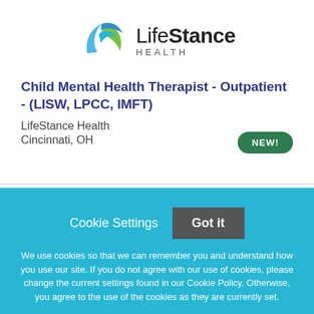[Figure (logo): LifeStance Health logo with stylized blue and green swoosh icon and company name]
Child Mental Health Therapist - Outpatient - (LISW, LPCC, IMFT)
LifeStance Health
Cincinnati, OH
NEW!
Cookie Settings
Got it
We use cookies so that we can remember you and understand how you use our site. If you do not agree with our use of cookies, please change the current settings found in our Cookie Policy. Otherwise, you agree to the use of the cookies as they are currently set.